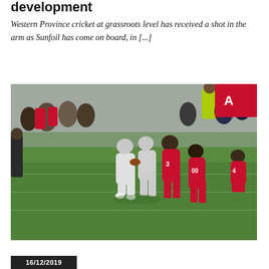development
Western Province cricket at grassroots level has received a shot in the arm as Sunfoil has come on board, in [...]
[Figure (photo): American football game action shot showing players in red (49ers) uniforms and white/dark uniforms on a green grass field, with crowd and sideline staff visible in the background including a person in a high-visibility green vest.]
16/12/2019